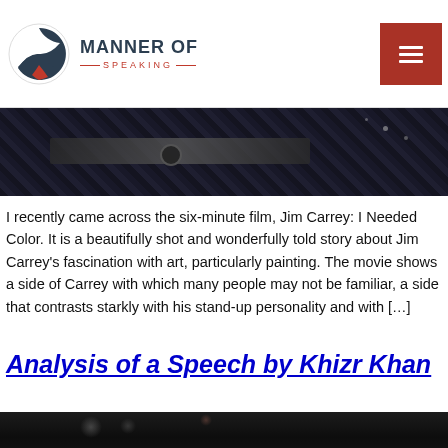MANNER OF SPEAKING
[Figure (photo): Close-up dark fabric with zipper texture]
I recently came across the six-minute film, Jim Carrey: I Needed Color. It is a beautifully shot and wonderfully told story about Jim Carrey's fascination with art, particularly painting. The movie shows a side of Carrey with which many people may not be familiar, a side that contrasts starkly with his stand-up personality and with […]
Analysis of a Speech by Khizr Khan
[Figure (photo): Dark blurred background with bokeh lighting effects]